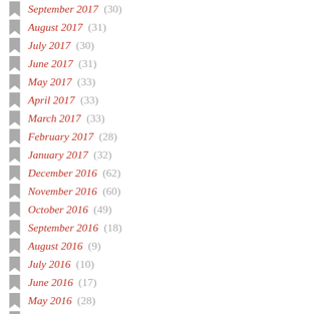September 2017 (30)
August 2017 (31)
July 2017 (30)
June 2017 (31)
May 2017 (33)
April 2017 (33)
March 2017 (33)
February 2017 (28)
January 2017 (32)
December 2016 (62)
November 2016 (60)
October 2016 (49)
September 2016 (18)
August 2016 (9)
July 2016 (10)
June 2016 (17)
May 2016 (28)
April 2016 (15)